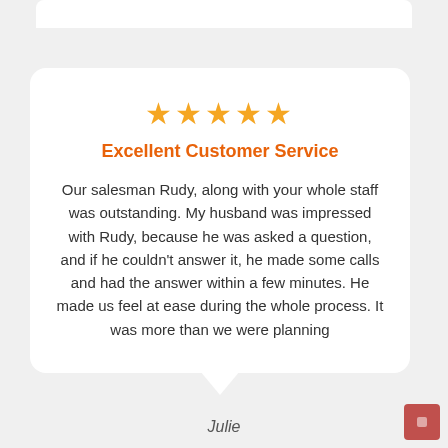[Figure (other): Five orange star rating icons]
Excellent Customer Service
Our salesman Rudy, along with your whole staff was outstanding. My husband was impressed with Rudy, because he was asked a question, and if he couldn't answer it, he made some calls and had the answer within a few minutes. He made us feel at ease during the whole process. It was more than we were planning
Julie